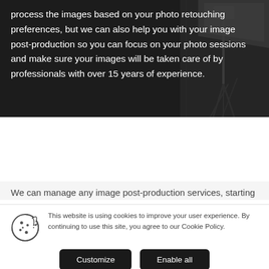[Figure (photo): Dark background with a black-and-white photo of a photography studio with lighting equipment visible on the right side]
process the images based on your photo retouching preferences, but we can also help you with your image post-production so you can focus on your photo sessions and make sure your images will be taken care of by professionals with over 15 years of experience.
We can manage any image post-production services, starting
This website is using cookies to improve your user experience. By continuing to use this site, you agree to our Cookie Policy.